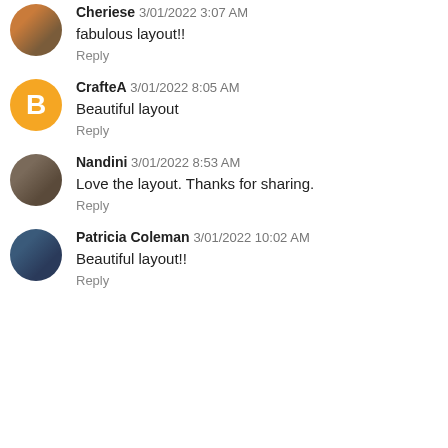Cheriese 3/01/2022 3:07 AM
fabulous layout!!
Reply
CrafteA 3/01/2022 8:05 AM
Beautiful layout
Reply
Nandini 3/01/2022 8:53 AM
Love the layout. Thanks for sharing.
Reply
Patricia Coleman 3/01/2022 10:02 AM
Beautiful layout!!
Reply